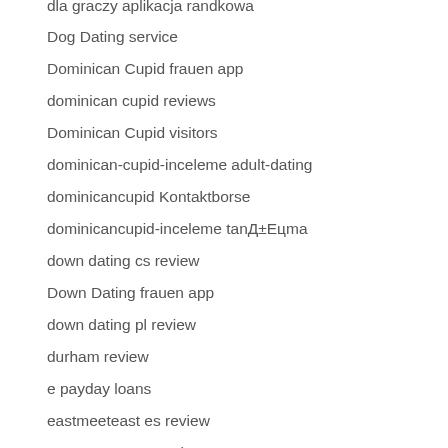dla graczy aplikacja randkowa
Dog Dating service
Dominican Cupid frauen app
dominican cupid reviews
Dominican Cupid visitors
dominican-cupid-inceleme adult-dating
dominicancupid Kontaktborse
dominicancupid-inceleme tanД±Eцma
down dating cs review
Down Dating frauen app
down dating pl review
durham review
e payday loans
eastmeeteast es review
Eastmeeteast meetic